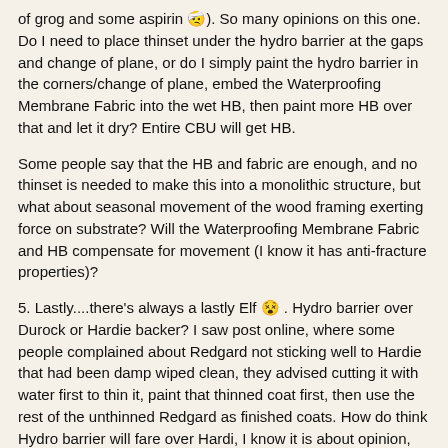of grog and some aspirin 🤕). So many opinions on this one. Do I need to place thinset under the hydro barrier at the gaps and change of plane, or do I simply paint the hydro barrier in the corners/change of plane, embed the Waterproofing Membrane Fabric into the wet HB, then paint more HB over that and let it dry? Entire CBU will get HB.
Some people say that the HB and fabric are enough, and no thinset is needed to make this into a monolithic structure, but what about seasonal movement of the wood framing exerting force on substrate? Will the Waterproofing Membrane Fabric and HB compensate for movement (I know it has anti-fracture properties)?
5. Lastly....there's always a lastly Elf 😵 . Hydro barrier over Durock or Hardie backer? I saw post online, where some people complained about Redgard not sticking well to Hardie that had been damp wiped clean, they advised cutting it with water first to thin it, paint that thinned coat first, then use the rest of the unthinned Redgard as finished coats. How do think Hydro barrier will fare over Hardi, I know it is about opinion, but your guesses are more accurate than most people's absolute truths (little butt kissing there 😬 .
Fare you well Elf, If yer ever find yerself in a moldy old bog and see some beautiful tile work there, it's all because of